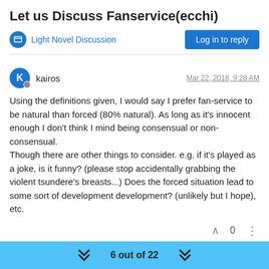Let us Discuss Fanservice(ecchi)
Light Novel Discussion
Log in to reply
kairos
Mar 22, 2018, 9:28 AM
Using the definitions given, I would say I prefer fan-service to be natural than forced (80% natural). As long as it's innocent enough I don't think I mind being consensual or non-consensual. Though there are other things to consider. e.g. if it's played as a joke, is it funny? (please stop accidentally grabbing the violent tsundere's breasts...) Does the forced situation lead to some sort of development development? (unlikely but I hope), etc.
0
6 out of 22